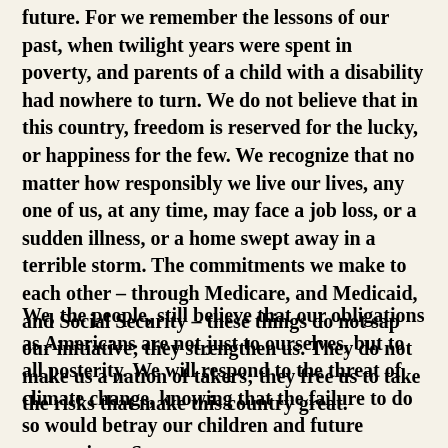future. For we remember the lessons of our past, when twilight years were spent in poverty, and parents of a child with a disability had nowhere to turn. We do not believe that in this country, freedom is reserved for the lucky, or happiness for the few. We recognize that no matter how responsibly we live our lives, any one of us, at any time, may face a job loss, or a sudden illness, or a home swept away in a terrible storm. The commitments we make to each other – through Medicare, and Medicaid, and Social Security – these things do not sap our initiative; they strengthen us. They do not make us a nation of takers; they free us to take the risks that make this country great.
We, the people, still believe that our obligations as Americans are not just to ourselves, but to all posterity. We will respond to the threat of climate change, knowing that the failure to do so would betray our children and future generations. Some